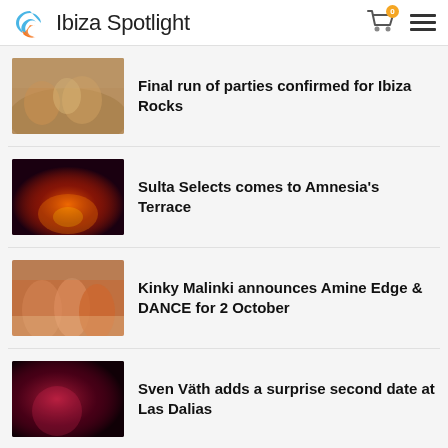Ibiza Spotlight
Final run of parties confirmed for Ibiza Rocks
Sulta Selects comes to Amnesia's Terrace
Kinky Malinki announces Amine Edge & DANCE for 2 October
Sven Väth adds a surprise second date at Las Dalias